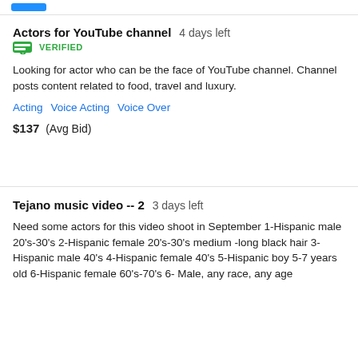Actors for YouTube channel  4 days left
VERIFIED
Looking for actor who can be the face of YouTube channel. Channel posts content related to food, travel and luxury.
Acting   Voice Acting   Voice Over
$137  (Avg Bid)
Tejano music video -- 2  3 days left
Need some actors for this video shoot in September 1-Hispanic male 20's-30's 2-Hispanic female 20's-30's medium -long black hair 3-Hispanic male 40's 4-Hispanic female 40's 5-Hispanic boy 5-7 years old 6-Hispanic female 60's-70's 6- Male, any race, any age